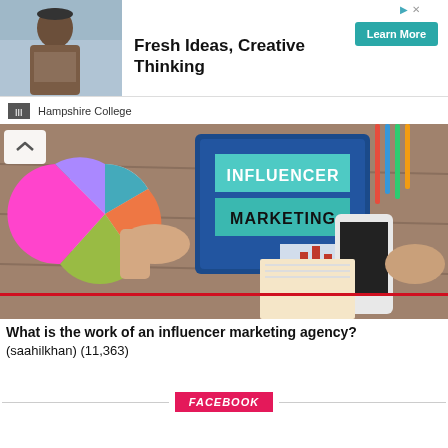[Figure (screenshot): Advertisement banner for Hampshire College with photo of woman and 'Fresh Ideas, Creative Thinking' headline and Learn More button]
[Figure (photo): Overhead photo of a desk with tablet showing 'INFLUENCER MARKETING' text, pie chart, phone, and hands]
What is the work of an influencer marketing agency? (saahilkhan) (11,363)
[Figure (logo): Facebook logo banner with pink/red background and white italic text]
[Figure (other): Red horizontal border line at bottom of content area]